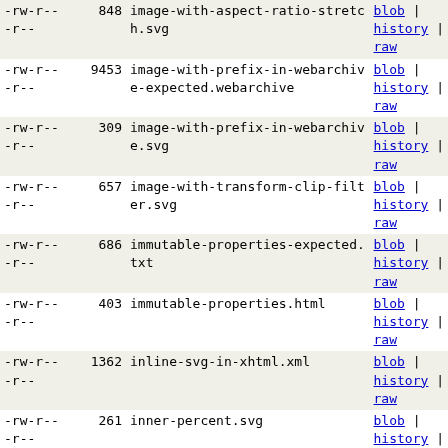| permissions | size | filename | actions |
| --- | --- | --- | --- |
| -rw-r--r-- | 848 | image-with-aspect-ratio-stretch.svg | blob | history | raw |
| -rw-r--r-- | 9453 | image-with-prefix-in-webarchive-expected.webarchive | blob | history | raw |
| -rw-r--r-- | 309 | image-with-prefix-in-webarchive.svg | blob | history | raw |
| -rw-r--r-- | 657 | image-with-transform-clip-filter.svg | blob | history | raw |
| -rw-r--r-- | 686 | immutable-properties-expected.txt | blob | history | raw |
| -rw-r--r-- | 403 | immutable-properties.html | blob | history | raw |
| -rw-r--r-- | 1362 | inline-svg-in-xhtml.xml | blob | history | raw |
| -rw-r--r-- | 261 | inner-percent.svg | blob | history | raw |
| -rw-r--r-- | 620 | inner-svg-hit-test.svg | blob | history | raw |
| -rw-r--r-- | 74 | insertItemBefore-from-non-list-origin-expected.txt | blob | history | raw |
| -rw-r--r-- | 476 | insertItemBefore-from-non-list-origin.svg | blob | history | raw |
| -rw-r--r-- | 2360 | invalid-css.svg | blob | history | raw |
| -rw-r--r-- | 334 | invalid-fill-... | blob | ... |